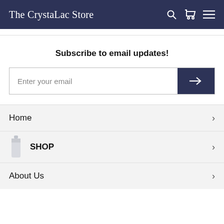The CrystaLac Store
Subscribe to email updates!
Enter your email
Home
SHOP
About Us